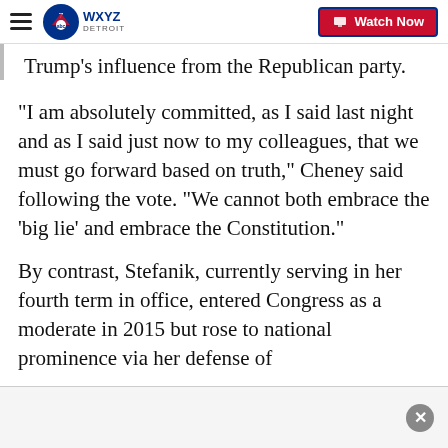WXYZ Detroit — Watch Now
Trump's influence from the Republican party.
"I am absolutely committed, as I said last night and as I said just now to my colleagues, that we must go forward based on truth," Cheney said following the vote. "We cannot both embrace the ‘big lie’ and embrace the Constitution."
By contrast, Stefanik, currently serving in her fourth term in office, entered Congress as a moderate in 2015 but rose to national prominence via her defense of